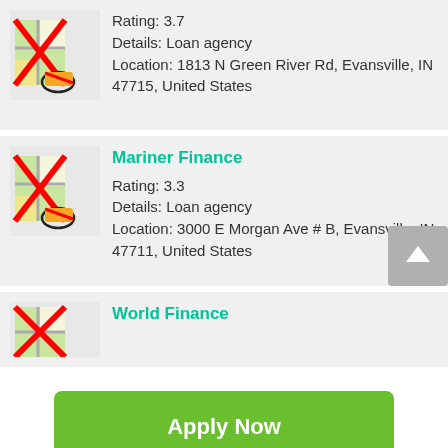Rating: 3.7
Details: Loan agency
Location: 1813 N Green River Rd, Evansville, IN 47715, United States
Mariner Finance
Rating: 3.3
Details: Loan agency
Location: 3000 E Morgan Ave # B, Evansville, IN 47711, United States
World Finance
Apply Now
Applying does NOT affect your credit score!
No credit check to apply.